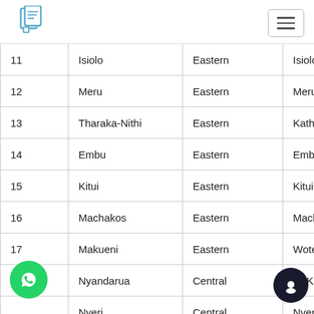| # | County | Region | Headquarters |
| --- | --- | --- | --- |
| 11 | Isiolo | Eastern | Isiolo |
| 12 | Meru | Eastern | Meru |
| 13 | Tharaka-Nithi | Eastern | Kathwana |
| 14 | Embu | Eastern | Embu |
| 15 | Kitui | Eastern | Kitui |
| 16 | Machakos | Eastern | Machakos |
| 17 | Makueni | Eastern | Wote |
| 18 | Nyandarua | Central | Ol Kalou |
| 19 | Nyeri | Central | Nyeri |